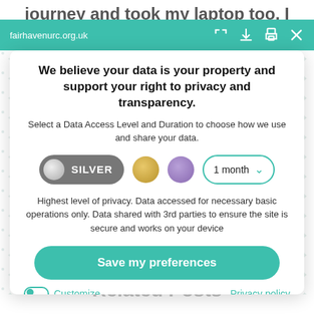journey and took my laptop too, I did walk
fairhavenurc.org.uk
We believe your data is your property and support your right to privacy and transparency.
Select a Data Access Level and Duration to choose how we use and share your data.
[Figure (screenshot): Privacy settings controls: Silver pill button selected, gold circle, purple circle, and a '1 month' dropdown selector]
Highest level of privacy. Data accessed for necessary basic operations only. Data shared with 3rd parties to ensure the site is secure and works on your device
Save my preferences
Related Posts
Customize
Privacy policy